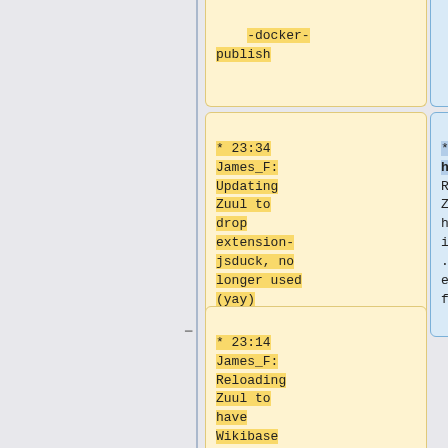-docker-publish
97[1299/97]]
* 23:34 James_F: Updating Zuul to drop extension-jsduck, no longer used (yay)
* 08:33 hashar: Reloading Zuul for https://gerrit.wikimedia.org/r/c/integration/config/+/791809
* 23:14 James_F: Reloading Zuul to have Wikibase use extension-javascript-documentatio